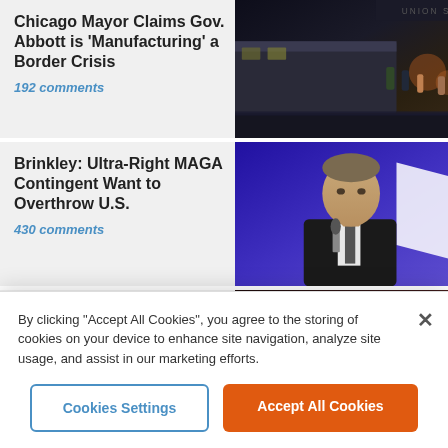Chicago Mayor Claims Gov. Abbott is 'Manufacturing' a Border Crisis
192 comments
[Figure (photo): Night scene of people boarding or exiting a bus at a station]
Brinkley: Ultra-Right MAGA Contingent Want to Overthrow U.S.
430 comments
[Figure (photo): Man in dark suit holding a microphone, speaking at an event with blue background]
Poll: Three in Ten Americans Did Not Get a Coronavirus Vaccine
[Figure (photo): Large crowd of people with raised fists]
By clicking "Accept All Cookies", you agree to the storing of cookies on your device to enhance site navigation, analyze site usage, and assist in our marketing efforts.
Cookies Settings
Accept All Cookies